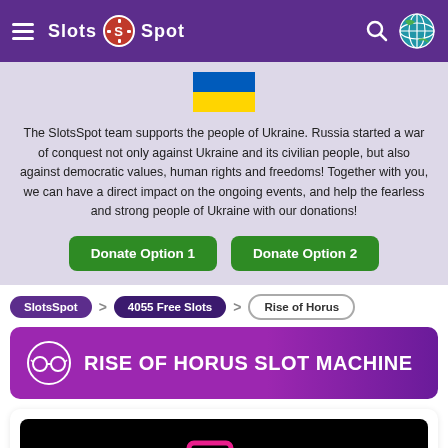Slots Spot
[Figure (illustration): Ukraine flag (blue and yellow stripes)]
The SlotsSpot team supports the people of Ukraine. Russia started a war of conquest not only against Ukraine and its civilian people, but also against democratic values, human rights and freedoms! Together with you, we can have a direct impact on the ongoing events, and help the fearless and strong people of Ukraine with our donations!
Donate Option 1
Donate Option 2
SlotsSpot > 4055 Free Slots > Rise of Horus
RISE OF HORUS SLOT MACHINE
[Figure (screenshot): Game loading screen for Rise of Horus slot machine showing a dark background with a pink/purple slot machine icon]